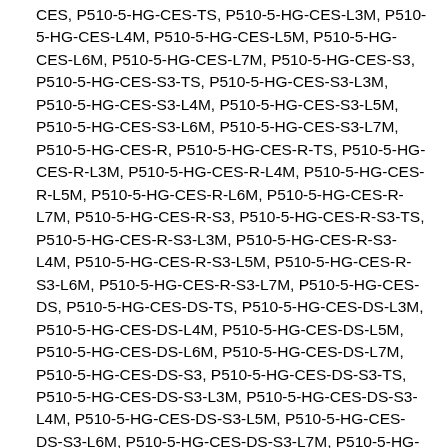CES, P510-5-HG-CES-TS, P510-5-HG-CES-L3M, P510-5-HG-CES-L4M, P510-5-HG-CES-L5M, P510-5-HG-CES-L6M, P510-5-HG-CES-L7M, P510-5-HG-CES-S3, P510-5-HG-CES-S3-TS, P510-5-HG-CES-S3-L3M, P510-5-HG-CES-S3-L4M, P510-5-HG-CES-S3-L5M, P510-5-HG-CES-S3-L6M, P510-5-HG-CES-S3-L7M, P510-5-HG-CES-R, P510-5-HG-CES-R-TS, P510-5-HG-CES-R-L3M, P510-5-HG-CES-R-L4M, P510-5-HG-CES-R-L5M, P510-5-HG-CES-R-L6M, P510-5-HG-CES-R-L7M, P510-5-HG-CES-R-S3, P510-5-HG-CES-R-S3-TS, P510-5-HG-CES-R-S3-L3M, P510-5-HG-CES-R-S3-L4M, P510-5-HG-CES-R-S3-L5M, P510-5-HG-CES-R-S3-L6M, P510-5-HG-CES-R-S3-L7M, P510-5-HG-CES-DS, P510-5-HG-CES-DS-TS, P510-5-HG-CES-DS-L3M, P510-5-HG-CES-DS-L4M, P510-5-HG-CES-DS-L5M, P510-5-HG-CES-DS-L6M, P510-5-HG-CES-DS-L7M, P510-5-HG-CES-DS-S3, P510-5-HG-CES-DS-S3-TS, P510-5-HG-CES-DS-S3-L3M, P510-5-HG-CES-DS-S3-L4M, P510-5-HG-CES-DS-S3-L5M, P510-5-HG-CES-DS-S3-L6M, P510-5-HG-CES-DS-S3-L7M, P510-5-HG-CES-DS-R, P510-5-HG-CES-DS-R-TS, P510-5-HG-CES-DS-R-L3M, P510-5-HG-CES-DS-R-L4M, P510-5-HG-CES-DS-R-L5M, P510-5-HG-CES-DS-R-L6M, P510-5-HG-CES-DS-R-L7M, P510-5-HG-CES-DS-R-S3, P510-5-HG-CES-DS-R-S3-TS, P510-5-HG-CES-DS-R-S3-L3M, P510-5-HG-CES-DS-R-S3-L4M, P510-5-HG-CES-DS-R-S3-L5M, P510-5-HG-CES-DS-R-S3-L6M, P510-5-HG-CES-DS-R-S3-